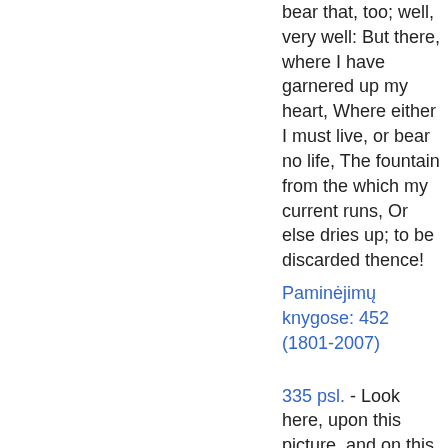bear that, too; well, very well: But there, where I have garnered up my heart, Where either I must live, or bear no life, The fountain from the which my current runs, Or else dries up; to be discarded thence!
Paminėjimų knygose: 452 (1801-2007)
335 psl. - Look here, upon this picture, and on this, The counterfeit presentment of two brothers. See, what a grace was seated on this brow; Hyperion's curls; the front of Jove himself; An eye like Mars, to threaten and command; A station like the herald